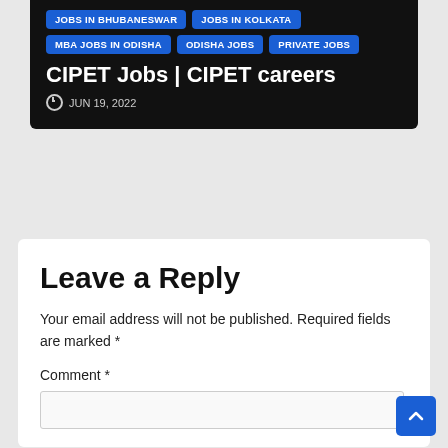JOBS IN BHUBANESWAR
JOBS IN KOLKATA
MBA JOBS IN ODISHA
ODISHA JOBS
PRIVATE JOBS
CIPET Jobs | CIPET careers
JUN 19, 2022
Leave a Reply
Your email address will not be published. Required fields are marked *
Comment *